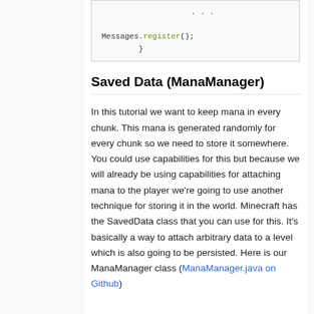[Figure (screenshot): Code block showing Messages.register(); and closing brace, with ellipsis dots above]
Saved Data (ManaManager)
In this tutorial we want to keep mana in every chunk. This mana is generated randomly for every chunk so we need to store it somewhere. You could use capabilities for this but because we will already be using capabilities for attaching mana to the player we're going to use another technique for storing it in the world. Minecraft has the SavedData class that you can use for this. It's basically a way to attach arbitrary data to a level which is also going to be persisted. Here is our ManaManager class (ManaManager.java on Github).